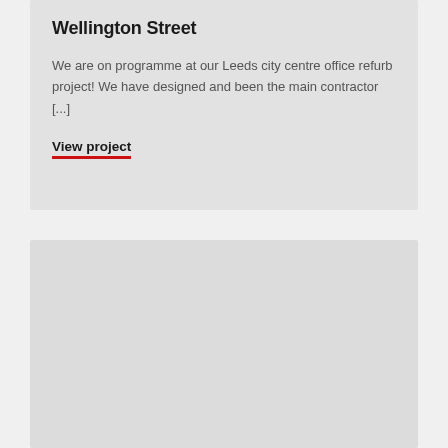Wellington Street
We are on programme at our Leeds city centre office refurb project! We have designed and been the main contractor [...]
View project
[Figure (other): Grey placeholder card or image block at the bottom of the page]